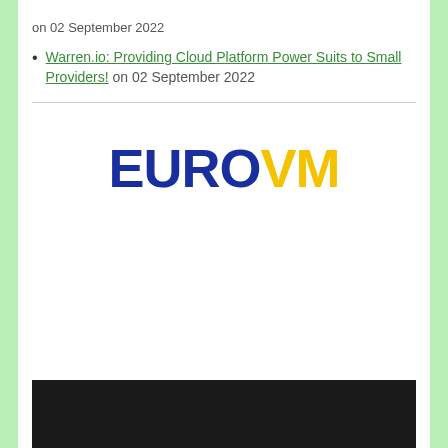on 02 September 2022
Warren.io: Providing Cloud Platform Power Suits to Small Providers! on 02 September 2022
[Figure (logo): EuroVM logo with EURO in dark blue bold text and VM in yellow bold text]
[Figure (photo): Dark/black textured image at bottom of page, partially visible]